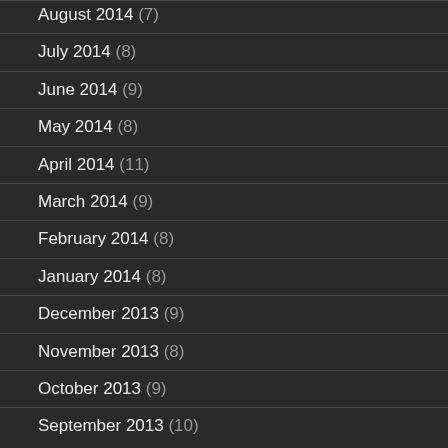August 2014 (7)
July 2014 (8)
June 2014 (9)
May 2014 (8)
April 2014 (11)
March 2014 (9)
February 2014 (8)
January 2014 (8)
December 2013 (9)
November 2013 (8)
October 2013 (9)
September 2013 (10)